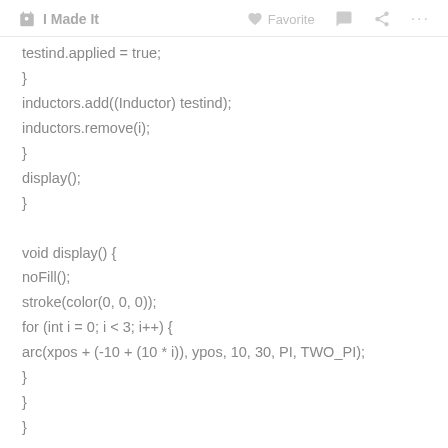I Made It   Favorite
testind.applied = true;
}
inductors.add((Inductor) testind);
inductors.remove(i);
}
display();
}

void display() {
noFill();
stroke(color(0, 0, 0));
for (int i = 0; i < 3; i++) {
arc(xpos + (-10 + (10 * i)), ypos, 10, 30, PI, TWO_PI);
}
}
}